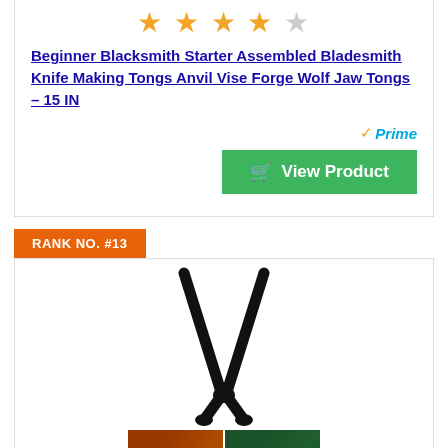[Figure (photo): Star rating showing approximately 4 out of 5 stars in gold/orange color]
Beginner Blacksmith Starter Assembled Bladesmith Knife Making Tongs Anvil Vise Forge Wolf Jaw Tongs – 15 IN
[Figure (logo): Amazon Prime logo with orange checkmark and blue Prime text]
[Figure (photo): Green View Product button with cart icon]
RANK NO. #13
[Figure (photo): Black metal wolf jaw blacksmith tongs product image, with two smaller thumbnail photos below showing the tongs in use with hot metal]
Rank No. #13 product card with blacksmith tongs image